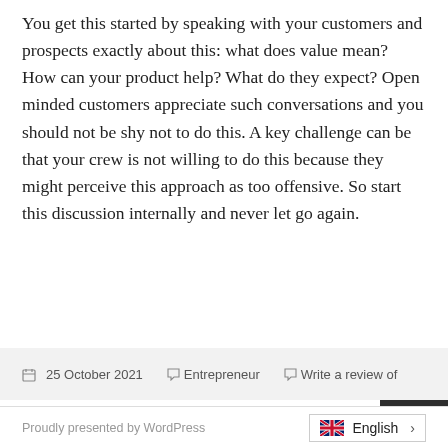You get this started by speaking with your customers and prospects exactly about this: what does value mean? How can your product help? What do they expect? Open minded customers appreciate such conversations and you should not be shy not to do this. A key challenge can be that your crew is not willing to do this because they might perceive this approach as too offensive. So start this discussion internally and never let go again.
25 October 2021   Entrepreneur   Write a review of
Proudly presented by WordPress   English >